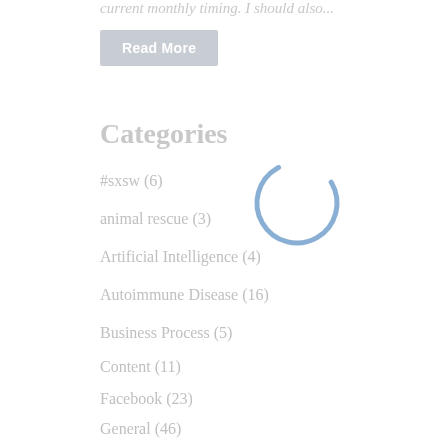current monthly timing. I should also...
Read More
Categories
#sxsw (6)
animal rescue (3)
Artificial Intelligence (4)
Autoimmune Disease (16)
Business Process (5)
Content (11)
Facebook (23)
General (46)
hashimoto's (16)
[Figure (other): A loading spinner (arc/circle) in blue color overlaying the category list]